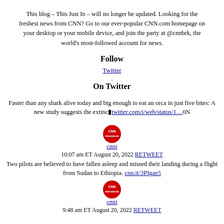This blog – This Just In – will no longer be updated. Looking for the freshest news from CNN? Go to our ever-popular CNN.com homepage on your desktop or your mobile device, and join the party at @cnnbrk, the world's most-followed account for news.
Follow
Twitter
.
On Twitter
Faster than any shark alive today and big enough to eat an orca in just five bites: A new study suggests the extinc�twitter.com/i/web/status/1…0N
cnni
10:07 am ET August 20, 2022 RETWEET
Two pilots are believed to have fallen asleep and missed their landing during a flight from Sudan to Ethiopia. cnn.it/3PIgae5
cnni
9:48 am ET August 20, 2022 RETWEET